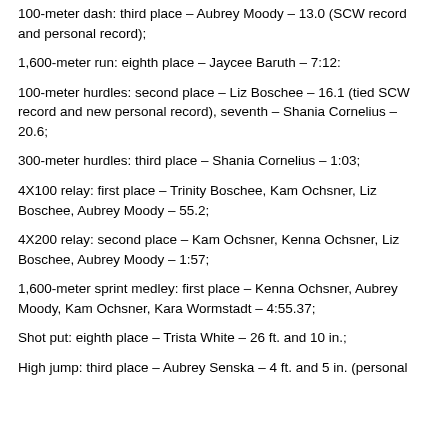100-meter dash: third place – Aubrey Moody – 13.0 (SCW record and personal record);
1,600-meter run: eighth place – Jaycee Baruth – 7:12:
100-meter hurdles: second place – Liz Boschee – 16.1 (tied SCW record and new personal record), seventh – Shania Cornelius – 20.6;
300-meter hurdles: third place – Shania Cornelius – 1:03;
4X100 relay: first place – Trinity Boschee, Kam Ochsner, Liz Boschee, Aubrey Moody – 55.2;
4X200 relay: second place – Kam Ochsner, Kenna Ochsner, Liz Boschee, Aubrey Moody – 1:57;
1,600-meter sprint medley: first place – Kenna Ochsner, Aubrey Moody, Kam Ochsner, Kara Wormstadt – 4:55.37;
Shot put: eighth place – Trista White – 26 ft. and 10 in.;
High jump: third place – Aubrey Senska – 4 ft. and 5 in. (personal